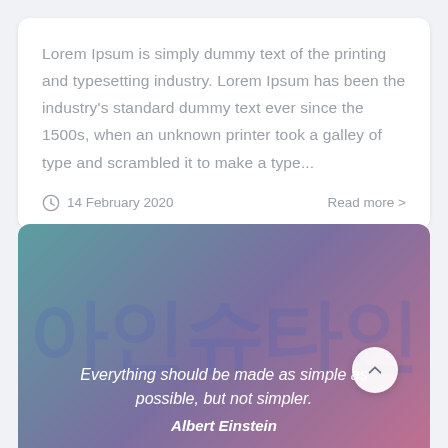Lorem Ipsum is simply dummy text of the printing and typesetting industry. Lorem Ipsum has been the industry's standard dummy text ever since the 1500s, when an unknown printer took a galley of type and scrambled it to make a type...
14 February 2020
Read more >
[Figure (other): Gradient banner section with teal-to-pink gradient background, a semi-transparent Korean text watermark, and a quote by Albert Einstein. Includes a circular scroll-to-top button with an upward chevron.]
Everything should be made as simple as possible, but not simpler.
Albert Einstein